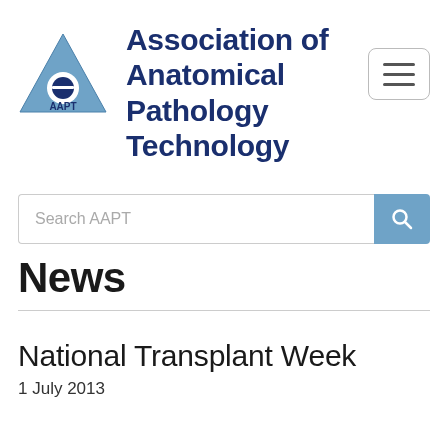[Figure (logo): AAPT blue triangle logo with circle and AAPT text]
Association of Anatomical Pathology Technology
[Figure (other): Hamburger menu button icon with three horizontal lines]
[Figure (other): Search bar with placeholder text 'Search AAPT' and blue search button]
News
National Transplant Week
1 July 2013